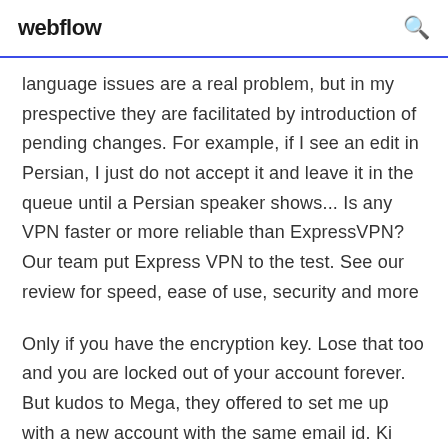webflow
language issues are a real problem, but in my prespective they are facilitated by introduction of pending changes. For example, if I see an edit in Persian, I just do not accept it and leave it in the queue until a Persian speaker shows... Is any VPN faster or more reliable than ExpressVPN? Our team put Express VPN to the test. See our review for speed, ease of use, security and more
Only if you have the encryption key. Lose that too and you are locked out of your account forever. But kudos to Mega, they offered to set me up with a new account with the same email id. Keep in mind, I definitely lost data that was...